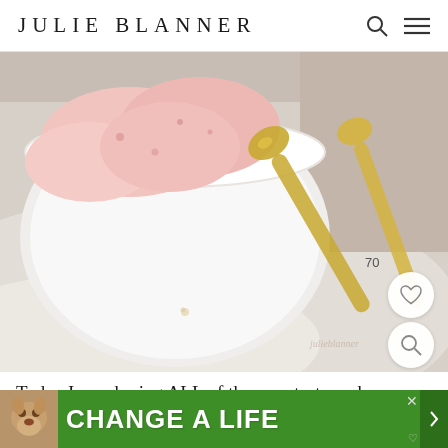JULIE BLANNER
[Figure (photo): Pink ice cream in a white bowl with two gold spoons on a white fabric background. A heart/like button and search button overlay the bottom right corner, with a '70' count badge.]
Today I am sharing ALL of the sweetest no churn rec... it to not
[Figure (other): Green advertisement banner reading 'CHANGE A LIFE' with a dog photo on the left side]